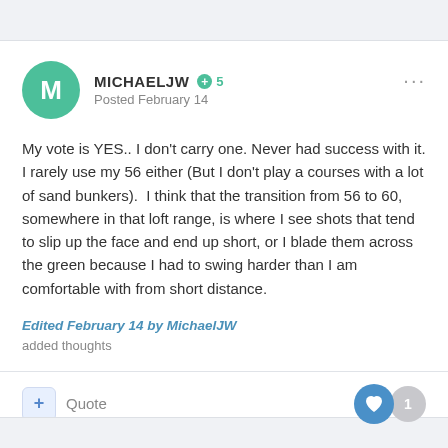MICHAELJW  +5
Posted February 14
My vote is YES.. I don't carry one. Never had success with it. I rarely use my 56 either (But I don't play a courses with a lot of sand bunkers).  I think that the transition from 56 to 60, somewhere in that loft range, is where I see shots that tend to slip up the face and end up short, or I blade them across the green because I had to swing harder than I am comfortable with from short distance.
Edited February 14 by MichaelJW
added thoughts
+ Quote